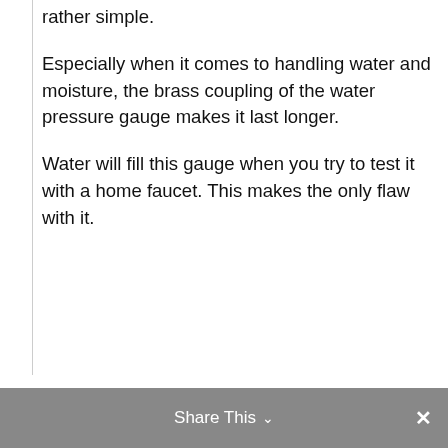rather simple.
Especially when it comes to handling water and moisture, the brass coupling of the water pressure gauge makes it last longer.
Water will fill this gauge when you try to test it with a home faucet. This makes the only flaw with it.
Share This ∨  ✕